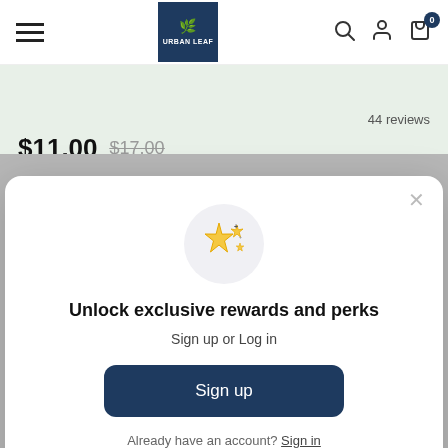Urban Leaf navigation bar with hamburger menu, logo, search, account, and cart icons
44 reviews
$11.00  $17.00
[Figure (screenshot): Modal popup with sparkle icon, title 'Unlock exclusive rewards and perks', subtitle 'Sign up or Log in', a Sign up button, and 'Already have an account? Sign in' link]
Unlock exclusive rewards and perks
Sign up or Log in
Sign up
Already have an account? Sign in